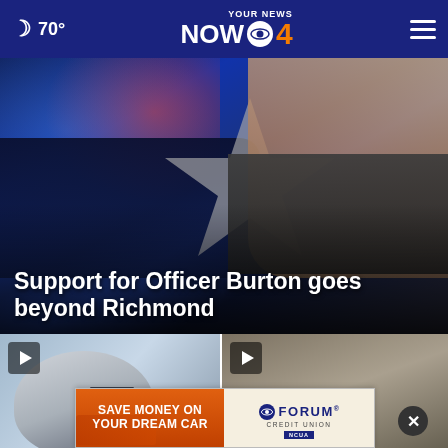70° — YOUR NEWS NOW CBS 4
[Figure (photo): News image showing police car with blue lights and a person wearing a star badge, overlaid with headline 'Support for Officer Burton goes beyond Richmond']
Support for Officer Burton goes beyond Richmond
[Figure (photo): Thumbnail video of a helmet, with play button overlay]
[Figure (photo): Thumbnail video of a person's face, with play button and close button overlay]
[Figure (infographic): Advertisement banner: SAVE MONEY ON YOUR DREAM CAR — Forum Credit Union]